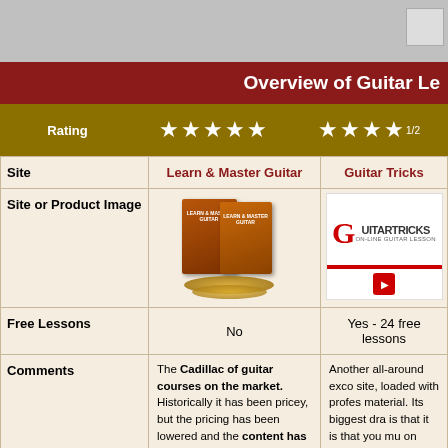Overview of Guitar Le...
| Site | Learn & Master Guitar | Guitar Tricks |
| --- | --- | --- |
| Site or Product Image | [product image] | [Guitar Tricks logo] |
| Free Lessons | No | Yes - 24 free lessons |
| Comments | The Cadillac of guitar courses on the market. Historically it has been pricey, but the pricing has been lowered and the content has almost doubled. As a result It is better than ever and a great | Another all-around exc... site, loaded with profes... material. Its biggest dra... is that it is that you mu... on your computer to vi... lessons. It's also a membership site - whi... |